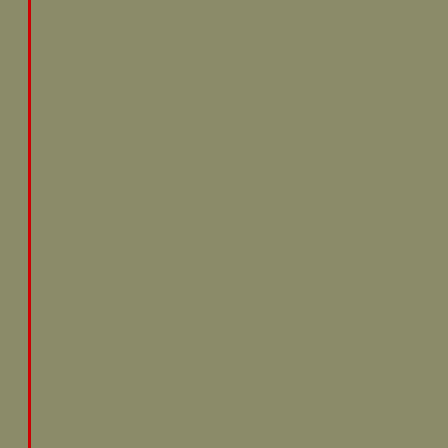[Figure (illustration): Olive/tan colored sidebar panel on the left portion of the page, with a solid red vertical line near left edge and a dashed red vertical line on right edge of sidebar]
Because of the lateness in the season, melting to very successfully navigate in ice up to 60 will continue during the ship's first SANAE
During the voyage, the opportunity was taken propulsion system and both the shipyard an Handover which takes place this week (We April and arrive in Cape Town on 3 May 20
[Figure (screenshot): TinyPic placeholder image showing a sad yellow smiley face emoji with a headphone, arms crossed, with text 'This image is no longer available. Visit tinypic.com for more information.' on a light purple/grey background]
Having successfully completed her sea trial